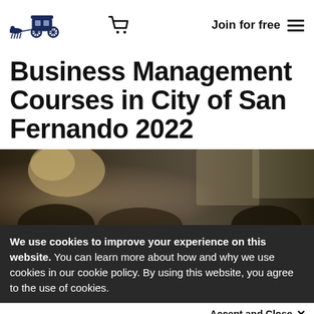[Figure (logo): Stagecoach logo with horse-drawn carriage illustration]
Join for free  ☰
Business Management Courses in City of San Fernando 2022
[Figure (photo): Photo of people in a classroom or conference setting, partially dark]
We use cookies to improve your experience on this website. You can learn more about how and why we use cookies in our cookie policy. By using this website, you agree to the use of cookies.
Accept and Close ✕
Your browser settings do not allow cross-site tracking for advertising. Click on this page to allow AdRoll to use cross-site tracking to tailor ads to you. Learn more or opt out of this AdRoll tracking by clicking here. This message only appears once.